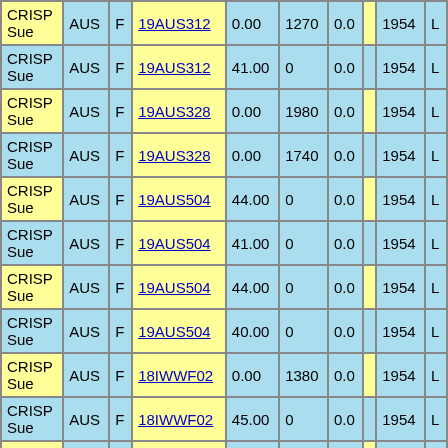| CRISP Sue | AUS | F | 19AUS312 | 0.00 | 1270 | 0.0 |  | 1954 | L |
| CRISP Sue | AUS | F | 19AUS312 | 41.00 | 0 | 0.0 |  | 1954 | L |
| CRISP Sue | AUS | F | 19AUS328 | 0.00 | 1980 | 0.0 |  | 1954 | L |
| CRISP Sue | AUS | F | 19AUS328 | 0.00 | 1740 | 0.0 |  | 1954 | L |
| CRISP Sue | AUS | F | 19AUS504 | 44.00 | 0 | 0.0 |  | 1954 | L |
| CRISP Sue | AUS | F | 19AUS504 | 41.00 | 0 | 0.0 |  | 1954 | L |
| CRISP Sue | AUS | F | 19AUS504 | 44.00 | 0 | 0.0 |  | 1954 | L |
| CRISP Sue | AUS | F | 19AUS504 | 40.00 | 0 | 0.0 |  | 1954 | L |
| CRISP Sue | AUS | F | 18IWWF02 | 0.00 | 1380 | 0.0 |  | 1954 | L |
| CRISP Sue | AUS | F | 18IWWF02 | 45.00 | 0 | 0.0 |  | 1954 | L |
| CRISP | AUS | F |  |  |  |  |  |  |  |